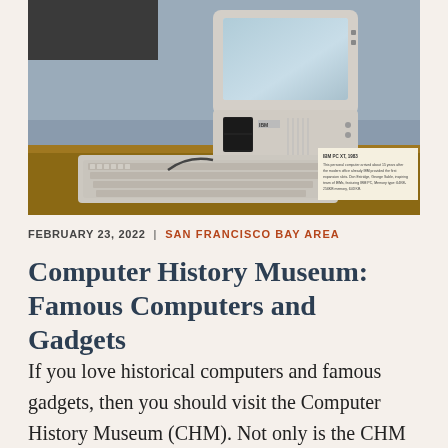[Figure (photo): Photo of a vintage IBM personal computer with monitor, CPU unit, keyboard, and floppy disk drive displayed on a wooden table at the Computer History Museum. A small informational placard is visible on the right side.]
FEBRUARY 23, 2022  |  SAN FRANCISCO BAY AREA
Computer History Museum: Famous Computers and Gadgets
If you love historical computers and famous gadgets, then you should visit the Computer History Museum (CHM). Not only is the CHM one